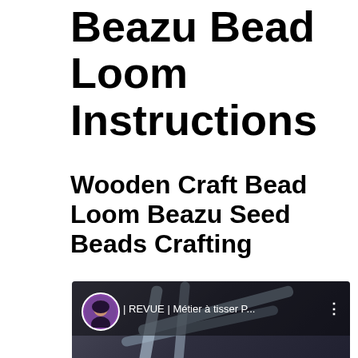Beazu Bead Loom Instructions
Wooden Craft Bead Loom Beazu Seed Beads Crafting
[Figure (photo): Video thumbnail showing a bead loom craft review video. Top-left shows a circular avatar of a woman with dark hair. Overlay text reads '| REVUE | Métier à tisser P...' with a three-dot menu icon. Bottom-right shows pink bold text 'REVU'. The background shows metallic loom arms and a pink branded card in the lower left.]